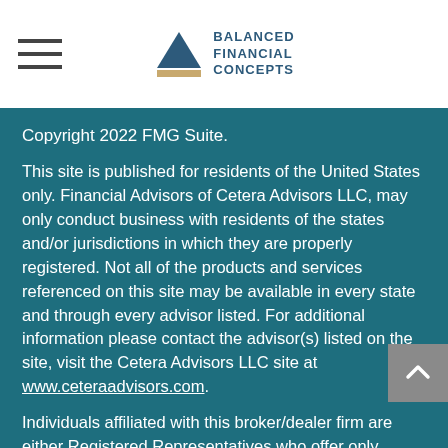Balanced Financial Concepts
Copyright 2022 FMG Suite.
This site is published for residents of the United States only. Financial Advisors of Cetera Advisors LLC, may only conduct business with residents of the states and/or jurisdictions in which they are properly registered. Not all of the products and services referenced on this site may be available in every state and through every advisor listed. For additional information please contact the advisor(s) listed on the site, visit the Cetera Advisors LLC site at www.ceteraadvisors.com.
Individuals affiliated with this broker/dealer firm are either Registered Representatives who offer only